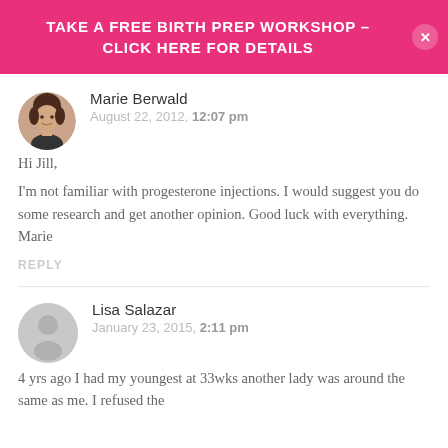TAKE A FREE BIRTH PREP WORKSHOP - CLICK HERE FOR DETAILS
Marie Berwald
August 22, 2012, 12:07 pm
Hi Jill,
I'm not familiar with progesterone injections. I would suggest you do some research and get another opinion. Good luck with everything. Marie
REPLY
Lisa Salazar
January 23, 2015, 2:11 pm
4 yrs ago I had my youngest at 33wks another lady was around the same as me. I refused the